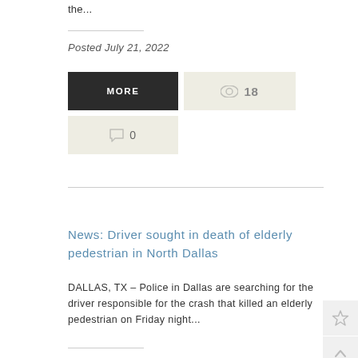the...
Posted July 21, 2022
MORE
18
0
News: Driver sought in death of elderly pedestrian in North Dallas
DALLAS, TX – Police in Dallas are searching for the driver responsible for the crash that killed an elderly pedestrian on Friday night...